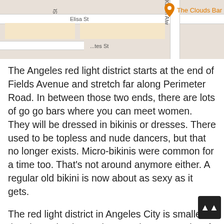[Figure (map): Street map showing Elisa St, Karen Alw, and The Clouds Bar location marked with an orange pin]
The Angeles red light district starts at the end of Fields Avenue and stretch far along Perimeter Road. In between those two ends, there are lots of go go bars where you can meet women. They will be dressed in bikinis or dresses. There used to be topless and nude dancers, but that no longer exists. Micro-bikinis were common for a time too. That's not around anymore either. A regular old bikini is now about as sexy as it gets.
The red light district in Angeles City is smaller than it used to be. In the past there was a lot of action on side streets. One strip was even called “blow row” because there were a lot of blowjob bars there where you get sucked off for very little money. Another side street had lots of cheap brothels where you could have sex with the women inside.